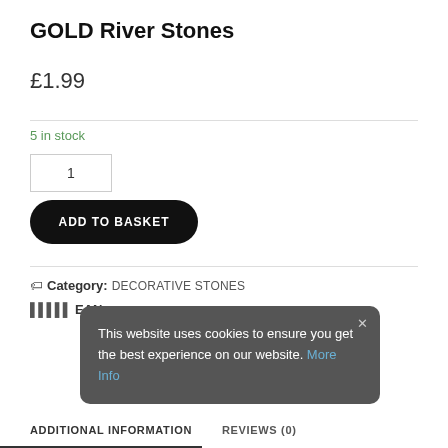GOLD River Stones
£1.99
5 in stock
1
ADD TO BASKET
Category: DECORATIVE STONES
EAN:
This website uses cookies to ensure you get the best experience on our website. More Info
ADDITIONAL INFORMATION
REVIEWS (0)